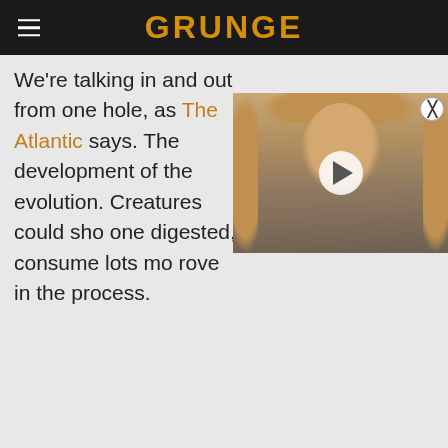GRUNGE
We're talking in and out from one hole, as The Atlantic says. The development of the evolution. Creatures could sho one digested, consume lots mo rove in the process.
[Figure (photo): Video thumbnail showing a man with long blonde hair and beard, with a white play button circle overlay. Close button in top right corner.]